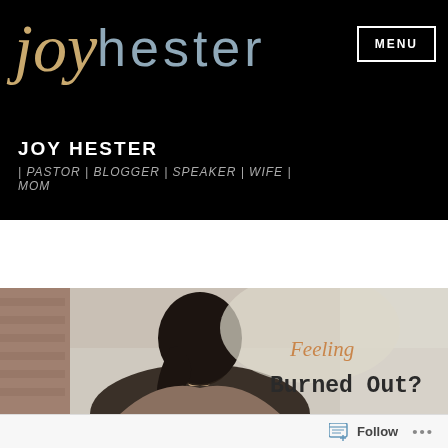joy hester | MENU
JOY HESTER
| PASTOR | BLOGGER | SPEAKER | WIFE | MOM
[Figure (photo): Woman with dark hair seen from behind, sitting at a table near a window, with text overlay reading 'Feeling Burned Out?']
Follow ...